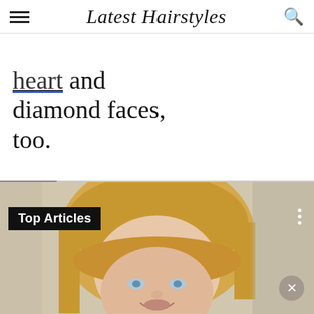Latest Hairstyles
heart and diamond faces, too.
[Figure (photo): A woman with a short blonde bob haircut with bangs, smiling. Overlaid with a 'Top Articles' label in the top left and a three-dot menu icon on the right. A close/X button appears in the bottom right corner of the photo. A thin progress bar spans the top of the image.]
19 Flattering Pixie Bob Haircuts for Women
[Figure (other): Advertisement banner for Disney Bundle featuring Hulu, Disney+, and ESPN+. Text reads: hulu Disney+ ESPN+ GET THE DISNEY BUNDLE. Incl. Hulu (ad-supported) or Hulu (No Ads). Access content from each service separately. ©2021 Disney and its related entities]